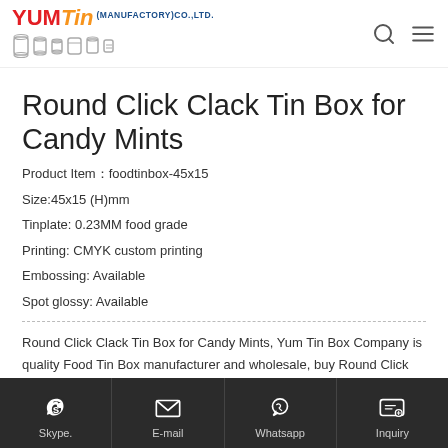YUM Tin (MANUFACTORY) CO., LTD.
Round Click Clack Tin Box for Candy Mints
Product Item：foodtinbox-45x15
Size:45x15 (H)mm
Tinplate: 0.23MM food grade
Printing: CMYK custom printing
Embossing: Available
Spot glossy: Available
Round Click Clack Tin Box for Candy Mints, Yum Tin Box Company is quality Food Tin Box manufacturer and wholesale, buy Round Click Clack Tin Box for Candy Mints from China manufacturer. Order good quality Round Click Clack Tin Box for Candy Mints now, we are china Round Click Clack Tin Box for Candy Mints manufacturer, check out our Round Click Clack Tin Box for Candy Mints selection for the very best in unique or custom, Whether functional Round Click Clack Tin Box for Candy Mints or gift packaging – we will find the right solution for you.
Skype. | E-mail | Whatsapp | Inquiry